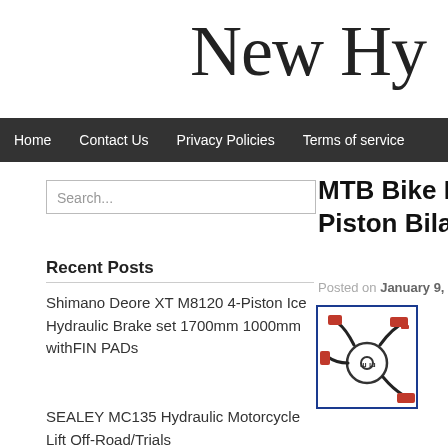New Hy
Home | Contact Us | Privacy Policies | Terms of service
Search...
Recent Posts
Shimano Deore XT M8120 4-Piston Ice Hydraulic Brake set 1700mm 1000mm withFIN PADs
SEALEY MC135 Hydraulic Motorcycle Lift Off-Road/Trials
MTB Bike New Hydra 4 Piston Bilateralbrak
Posted on January 9, 2022, 3:31 am
[Figure (illustration): Product image of MTB bike hydraulic brake caliper with red hose attachments, shown as a schematic/icon illustration in a blue-bordered box]